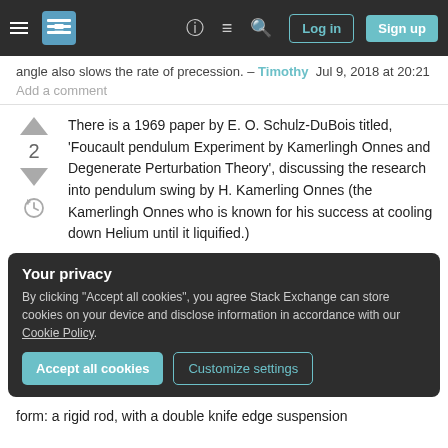[Figure (screenshot): Stack Exchange navigation bar with hamburger menu, logo, help icon, chat icon, search icon, Log in button, and Sign up button on dark background]
angle also slows the rate of precession. – Timothy  Jul 9, 2018 at 20:21
Add a comment
There is a 1969 paper by E. O. Schulz-DuBois titled, 'Foucault pendulum Experiment by Kamerlingh Onnes and Degenerate Perturbation Theory', discussing the research into pendulum swing by H. Kamerling Onnes (the Kamerlingh Onnes who is known for his success at cooling down Helium until it liquified.)
Your privacy
By clicking "Accept all cookies", you agree Stack Exchange can store cookies on your device and disclose information in accordance with our Cookie Policy.
Accept all cookies   Customize settings
form: a rigid rod, with a double knife edge suspension